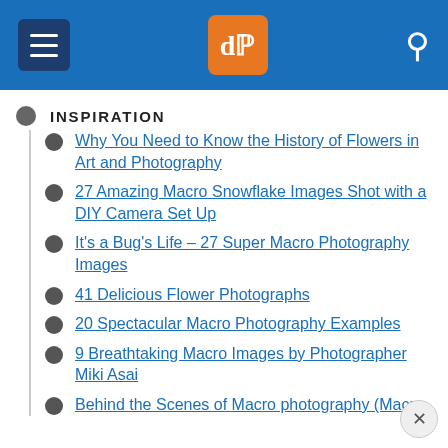dPS navigation header
INSPIRATION
Why You Need to Know the History of Flowers in Art and Photography
27 Amazing Macro Snowflake Images Shot with a DIY Camera Set Up
It's a Bug's Life – 27 Super Macro Photography Images
41 Delicious Flower Photographs
20 Spectacular Macro Photography Examples
9 Breathtaking Macro Images by Photographer Miki Asai
Behind the Scenes of Macro photography (truncated)